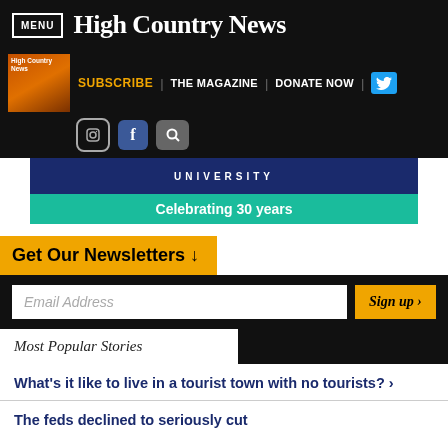MENU | High Country News
[Figure (logo): High Country News magazine thumbnail - orange/brown gradient cover]
SUBSCRIBE | THE MAGAZINE | DONATE NOW
[Figure (logo): Twitter, Instagram, Facebook, and Search icons]
[Figure (other): University banner - dark blue background with UNIVERSITY text]
Celebrating 30 years
Get Our Newsletters ↓
Email Address
Sign up ›
Most Popular Stories
What's it like to live in a tourist town with no tourists? ›
The feds declined to seriously cut